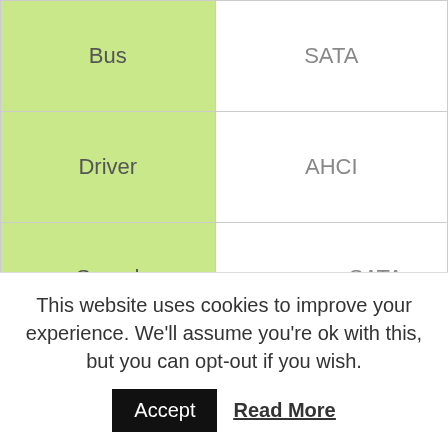| Property | Value |
| --- | --- |
| Bus | SATA |
| Driver | AHCI |
| Speed | same as SATA |
| SSD Drive | M.2 PCIe SSD |
| Connection | M.2 |
| Bus | PCIe |
This website uses cookies to improve your experience. We'll assume you're ok with this, but you can opt-out if you wish.
Accept   Read More